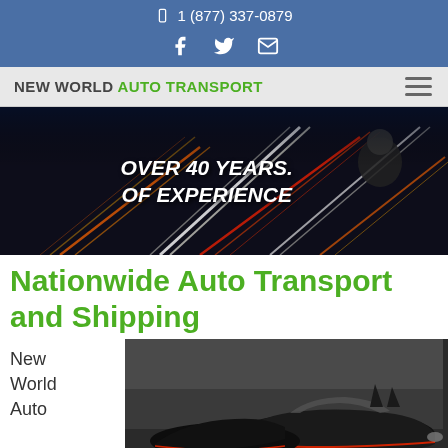1 (877) 337-0879
Social icons: Facebook, Twitter, Email
NEW WORLD AUTO TRANSPORT
[Figure (photo): Hero banner showing light trails on a highway at night with a person in racing gear and text 'OVER 40 YEARS OF EXPERIENCE']
Nationwide Auto Transport and Shipping
New World Auto
[Figure (photo): Black Batmobile-style car being transported, viewed from front-right angle in a warehouse or garage]